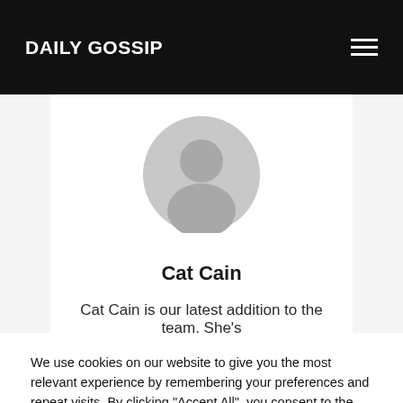DAILY GOSSIP
[Figure (illustration): Default grey user avatar/profile icon — circular outline with silhouette of head and shoulders]
Cat Cain
Cat Cain is our latest addition to the team. She's
We use cookies on our website to give you the most relevant experience by remembering your preferences and repeat visits. By clicking "Accept All", you consent to the use of ALL the cookies. However, you may visit "Cookie Settings" to provide a controlled consent.